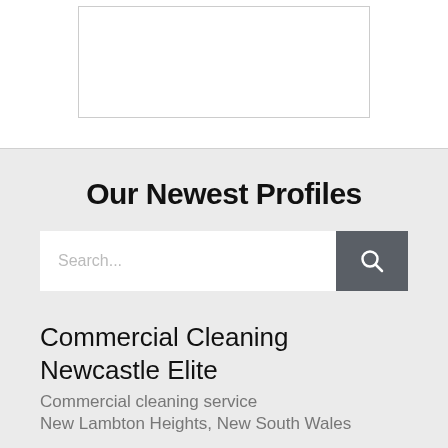[Figure (other): Partially visible image placeholder with a thin border, cropped at top]
Our Newest Profiles
[Figure (other): Search bar with text 'Search...' and a dark grey search button with a magnifying glass icon]
Commercial Cleaning Newcastle Elite
Commercial cleaning service
New Lambton Heights, New South Wales